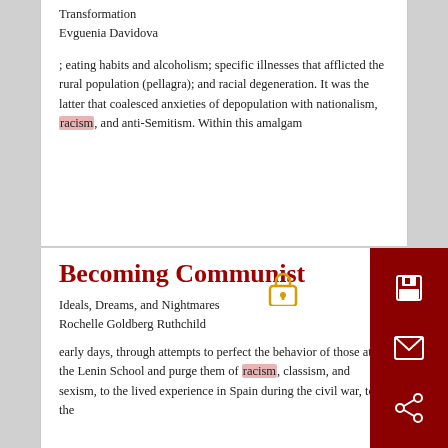Transformation
Evguenia Davidova
; eating habits and alcoholism; specific illnesses that afflicted the rural population (pellagra); and racial degeneration. It was the latter that coalesced anxieties of depopulation with nationalism, racism, and anti-Semitism. Within this amalgam
Becoming Communist
Ideals, Dreams, and Nightmares
Rochelle Goldberg Ruthchild
early days, through attempts to perfect the behavior of those at the Lenin School and purge them of racism, classism, and sexism, to the lived experience in Spain during the civil war, to the